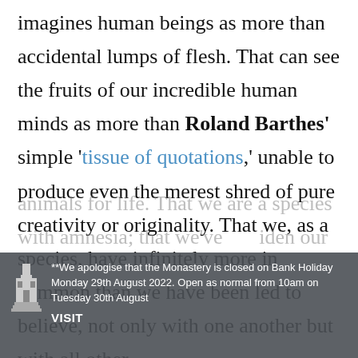imagines human beings as more than accidental lumps of flesh. That can see the fruits of our incredible human minds as more than Roland Barthes' simple 'tissue of quotations,' unable to produce even the merest shred of pure creativity or originality. That we, as a species, have infinitely more in common than we have been led to believe, not only with one another but with all other animals for life. That we are a species with amnesia; that we've idden our
**We apologise that the Monastery is closed on Bank Holiday Monday 29th August 2022. Open as normal from 10am on Tuesday 30th August
VISIT